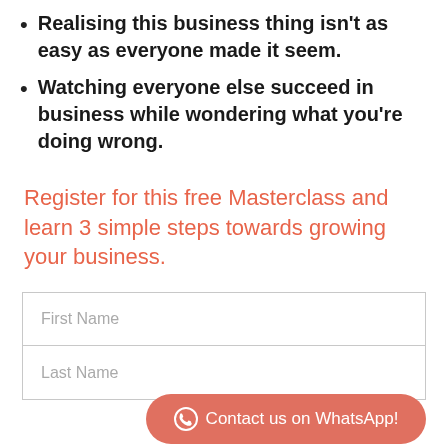Realising this business thing isn't as easy as everyone made it seem.
Watching everyone else succeed in business while wondering what you're doing wrong.
Register for this free Masterclass and learn 3 simple steps towards growing your business.
First Name
Last Name
Contact us on WhatsApp!